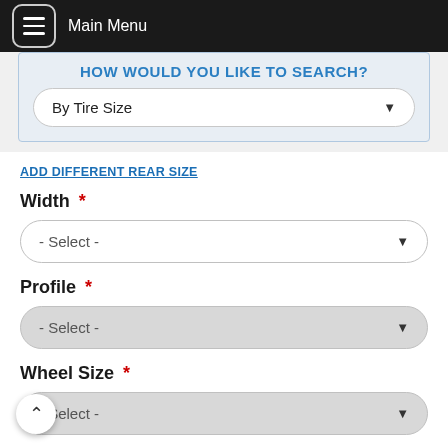Main Menu
HOW WOULD YOU LIKE TO SEARCH?
By Tire Size
ADD DIFFERENT REAR SIZE
Width *
- Select -
Profile *
- Select -
Wheel Size *
- Select -